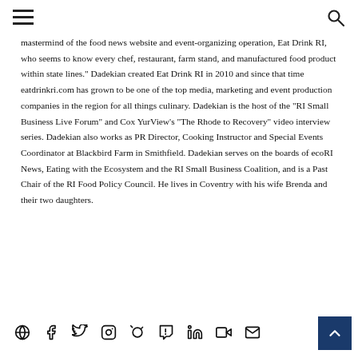[hamburger menu] [search icon]
mastermind of the food news website and event-organizing operation, Eat Drink RI, who seems to know every chef, restaurant, farm stand, and manufactured food product within state lines." Dadekian created Eat Drink RI in 2010 and since that time eatdrinkri.com has grown to be one of the top media, marketing and event production companies in the region for all things culinary. Dadekian is the host of the "RI Small Business Live Forum" and Cox YurView’s "The Rhode to Recovery" video interview series. Dadekian also works as PR Director, Cooking Instructor and Special Events Coordinator at Blackbird Farm in Smithfield. Dadekian serves on the boards of ecoRI News, Eating with the Ecosystem and the RI Small Business Coalition, and is a Past Chair of the RI Food Policy Council. He lives in Coventry with his wife Brenda and their two daughters.
[Figure (other): Social media icons row: globe, facebook, twitter, instagram, pinterest, tumblr, linkedin, youtube, email]